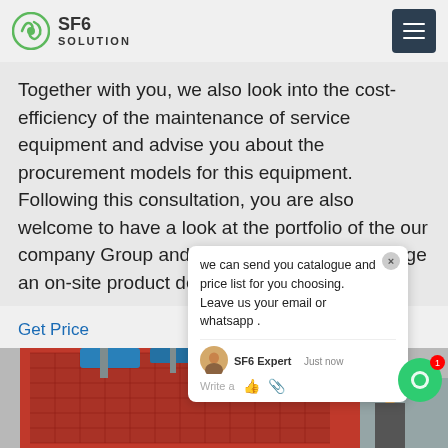SF6 SOLUTION
Together with you, we also look into the cost-efficiency of the maintenance of service equipment and advise you about the procurement models for this equipment. Following this consultation, you are also welcome to have a look at the portfolio of the our company Group and we will be happy to arrange an on-site product demonstration.
Get Price
[Figure (screenshot): Chat popup with message: 'we can send you catalogue and price list for you choosing. Leave us your email or whatsapp .' from SF6 Expert, just now.]
[Figure (photo): Industrial SF6 equipment — red metal-framed machinery with blue components, photographed in an industrial setting with a worker in blue hard hat visible.]